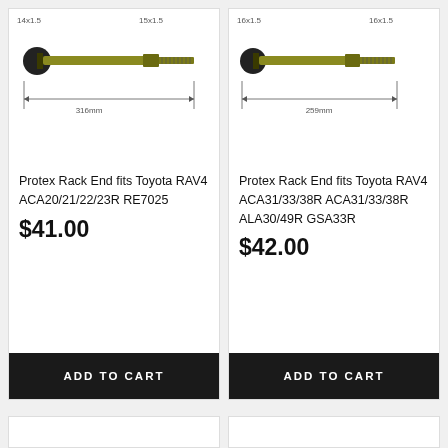[Figure (engineering-diagram): Technical drawing of a rack end / tie rod showing dimensions: 14x1.5 thread on left end, 15x1.5 thread on right end, total length 316mm. Olive/gold colored metal rod with black ball joint on left.]
Protex Rack End fits Toyota RAV4 ACA20/21/22/23R RE7025
$41.00
ADD TO CART
[Figure (engineering-diagram): Technical drawing of a rack end / tie rod showing dimensions: 16x1.5 thread on left end, 16x1.5 thread on right end, total length 259mm. Olive/gold colored metal rod with black ball joint on left.]
Protex Rack End fits Toyota RAV4 ACA31/33/38R ACA31/33/38R ALA30/49R GSA33R
$42.00
ADD TO CART